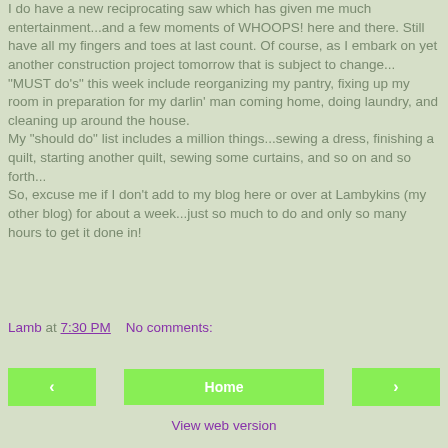I do have a new reciprocating saw which has given me much entertainment...and a few moments of WHOOPS! here and there. Still have all my fingers and toes at last count. Of course, as I embark on yet another construction project tomorrow that is subject to change...
"MUST do's" this week include reorganizing my pantry, fixing up my room in preparation for my darlin' man coming home, doing laundry, and cleaning up around the house.
My "should do" list includes a million things...sewing a dress, finishing a quilt, starting another quilt, sewing some curtains, and so on and so forth...
So, excuse me if I don't add to my blog here or over at Lambykins (my other blog) for about a week...just so much to do and only so many hours to get it done in!
Lamb at 7:30 PM    No comments:
Home
View web version